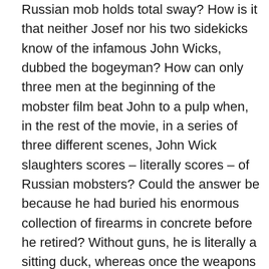Russian mob holds total sway? How is it that neither Josef nor his two sidekicks know of the infamous John Wicks, dubbed the bogeyman? How can only three men at the beginning of the mobster film beat John to a pulp when, in the rest of the movie, in a series of three different scenes, John Wick slaughters scores – literally scores – of Russian mobsters? Could the answer be because he had buried his enormous collection of firearms in concrete before he retired? Without guns, he is literally a sitting duck, whereas once the weapons are unburied, he can beat anyone in boxing, wrestling, and using the most violent of the martial arts, though his main tool of slaughter is the machine gun and the pistol. But if you have to ask questions about realism and causation, then the film has not swallowed you in the high kinetic pace of a series of brilliantly staged massacres. After all, the intelligence of